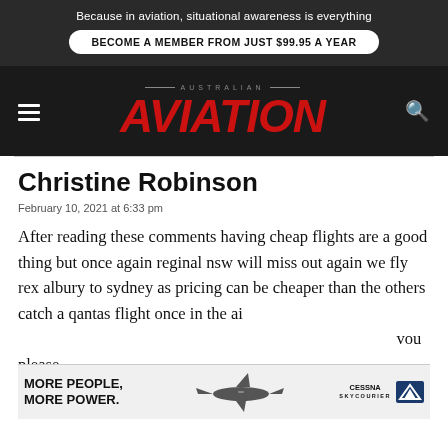Because in aviation, situational awareness is everything
BECOME A MEMBER FROM JUST $99.95 A YEAR
[Figure (logo): Australian Aviation magazine logo with red italic AVIATION text on dark background]
Christine Robinson
February 10, 2021 at 6:33 pm
After reading these comments having cheap flights are a good thing but once again reginal nsw will miss out again we fly rex albury to sydney as pricing can be cheaper than the others catch a qantas flight once in the ai…you please…out
[Figure (screenshot): Advertisement banner: MORE PEOPLE. MORE POWER. Cessna SkyCourier aircraft ad]